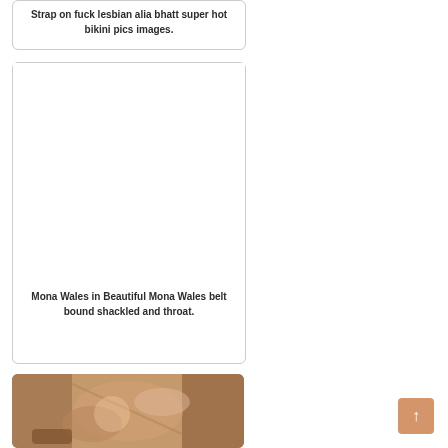Strap on fuck lesbian alia bhatt super hot bikini pics images.
[Figure (other): Empty card placeholder for second content block]
Mona Wales in Beautiful Mona Wales belt bound shackled and throat.
[Figure (photo): Photo of a woman lying on a surface, partial view, brownish warm tones]